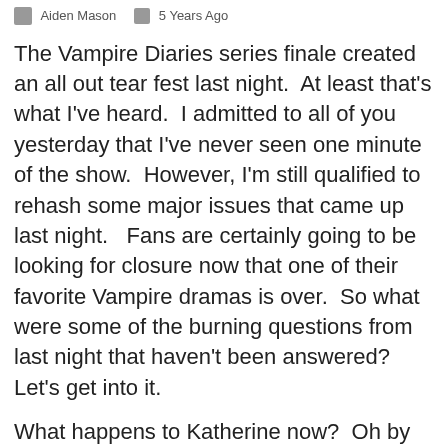Aiden Mason   5 Years Ago
The Vampire Diaries series finale created an all out tear fest last night.  At least that's what I've heard.  I admitted to all of you yesterday that I've never seen one minute of the show.  However, I'm still qualified to rehash some major issues that came up last night.   Fans are certainly going to be looking for closure now that one of their favorite Vampire dramas is over.  So what were some of the burning questions from last night that haven't been answered?  Let's get into it.
What happens to Katherine now?  Oh by the way this GIF below doesn't have much to do with anything other than the fact that I think it was Nina Dobrev's best look on the episode.  Wow.  Sorry, let's continue with the questions below.
[Figure (screenshot): Ad overlay: BitLife - Life Simulator with Install button]